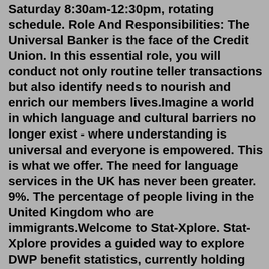Saturday 8:30am-12:30pm, rotating schedule. Role And Responsibilities: The Universal Banker is the face of the Credit Union. In this essential role, you will conduct not only routine teller transactions but also identify needs to nourish and enrich our members lives.Imagine a world in which language and cultural barriers no longer exist - where understanding is universal and everyone is empowered. This is what we offer. The need for language services in the UK has never been greater. 9%. The percentage of people living in the United Kingdom who are immigrants.Welcome to Stat-Xplore. Stat-Xplore provides a guided way to explore DWP benefit statistics, currently holding data relating to 16 different benefits/programmes. In future Stat-Xplore will include data on a wider set of DWP benefits. Using Stat-Xplore you can: Create customised tabulations. View results in interactive charts.Thousands of Universal Credit claimants in Berkshire will see a payment boost before Christmas,